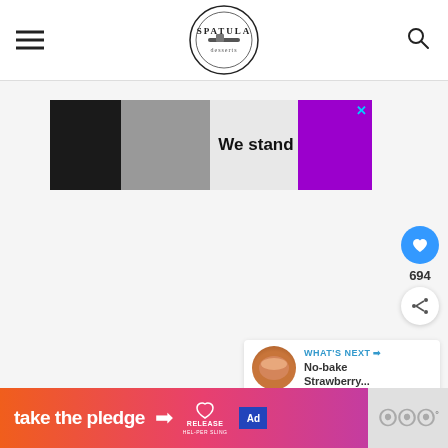[Figure (logo): Spatula Desserts circular logo with spatula icon in center]
[Figure (screenshot): Advertisement banner: black block, gray block, text 'We stand with you.' in bold, purple block with X close button]
[Figure (infographic): Social engagement sidebar: blue heart button, count 694, share button]
[Figure (infographic): What's Next card with food thumbnail and text 'No-bake Strawberry...']
[Figure (screenshot): Bottom banner ad: orange-pink gradient, 'take the pledge' text with arrow, RELEASE branding, ad badge, gray dots area]